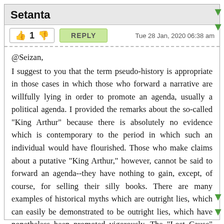Setanta
👍 1 👎   REPLY   Tue 28 Jan, 2020 06:38 am
@Seizan,
I suggest to you that the term pseudo-history is appropriate in those cases in which those who forward a narrative are willfully lying in order to promote an agenda, usually a political agenda. I provided the remarks about the so-called "King Arthur" because there is absolutely no evidence which is contemporary to the period in which such an individual would have flourished. Those who make claims about a putative "King Arthur," however, cannot be said to forward an agenda--they have nothing to gain, except, of course, for selling their silly books. There are many examples of historical myths which are outright lies, which can easily be demonstrated to be outright lies, which have nonetheless been promoted vigorously. The "Lost Cause" myth about the American civil war is an excellent example. That myth claims that the war was not about slavery, and that the American south was the victim of the American north. It is called "The War of Northern Aggression." The hotheads in the south started that war, however, but the promulgators of the myth have succeeded in convincing a large fraction that the war was a necessary thing. The